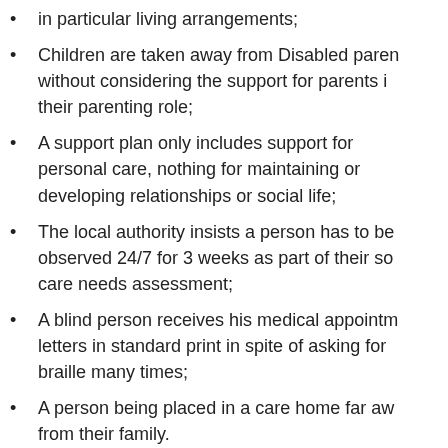in particular living arrangements;
Children are taken away from Disabled parents without considering the support for parents in their parenting role;
A support plan only includes support for personal care, nothing for maintaining or developing relationships or social life;
The local authority insists a person has to be observed 24/7 for 3 weeks as part of their social care needs assessment;
A blind person receives his medical appointment letters in standard print in spite of asking for braille many times;
A person being placed in a care home far away from their family.